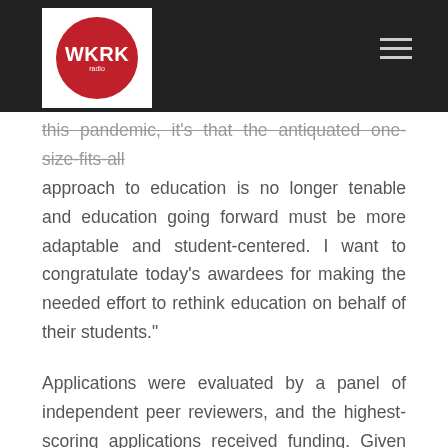WKRK
this pandemic, it’s that the antiquated one-size-fits-all approach to education is no longer tenable and education going forward must be more adaptable and student-centered. I want to congratulate today’s awardees for making the needed effort to rethink education on behalf of their students.”
Applications were evaluated by a panel of independent peer reviewers, and the highest-scoring applications received funding. Given the nature of the national emergency, states with the highest coronavirus burden were prioritized.
Feel free to share any post from the WKRK website that you feel is beneficial to your community. We encourage